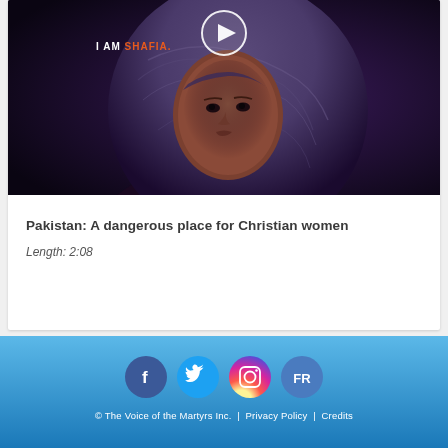[Figure (photo): Video thumbnail showing a woman wearing a purple headscarf against a dark background. Text overlay reads 'I AM SHAFIA.' with 'SHAFIA' in orange. A circular play button is shown at the top center.]
Pakistan: A dangerous place for Christian women
Length: 2:08
© The Voice of the Martyrs Inc. | Privacy Policy | Credits